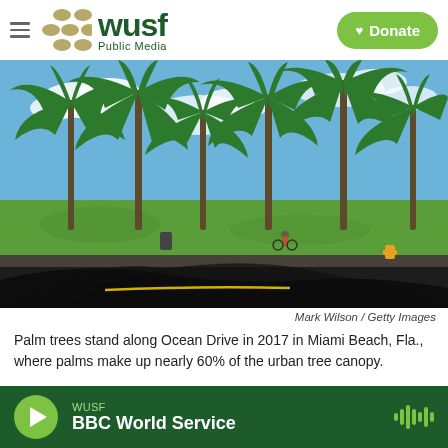WUSF Public Media | Donate
[Figure (photo): Palm trees line Ocean Drive in Miami Beach, Florida on a sunny day. Large palm tree shadows fall across the foreground road. A cyclist is visible in the middle distance on a sidewalk. A fire hydrant is visible on the right side. Blue sky and green lawn in background.]
Mark Wilson / Getty Images
Palm trees stand along Ocean Drive in 2017 in Miami Beach, Fla., where palms make up nearly 60% of the urban tree canopy.
WUSF BBC World Service